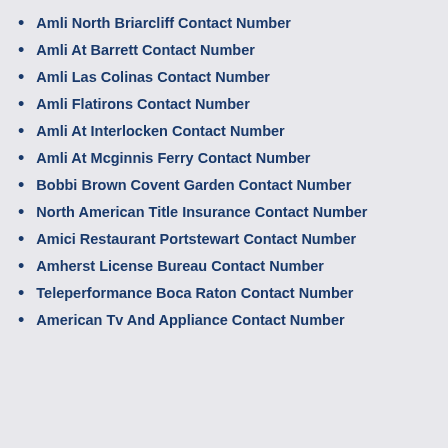Amli North Briarcliff Contact Number
Amli At Barrett Contact Number
Amli Las Colinas Contact Number
Amli Flatirons Contact Number
Amli At Interlocken Contact Number
Amli At Mcginnis Ferry Contact Number
Bobbi Brown Covent Garden Contact Number
North American Title Insurance Contact Number
Amici Restaurant Portstewart Contact Number
Amherst License Bureau Contact Number
Teleperformance Boca Raton Contact Number
American Tv And Appliance Contact Number